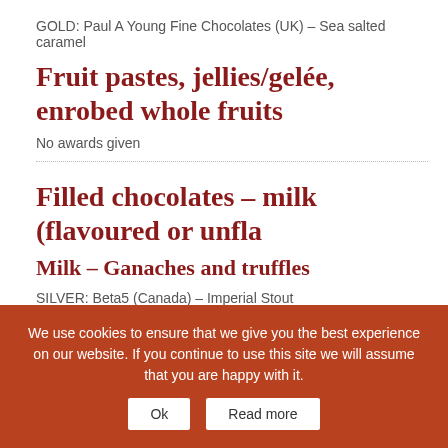GOLD: Paul A Young Fine Chocolates (UK) – Sea salted caramel
Fruit pastes, jellies/gelée, enrobed whole fruits
No awards given
Filled chocolates – milk (flavoured or unfla…
Milk – Ganaches and truffles
SILVER: Beta5 (Canada) – Imperial Stout
Milk – Nut based pralines and gianduja
PRALINES
SILVER: De Bondt Cioccolato Originale (Italy) – 'Pralina alla nocciola al…
FLAVOURED CREMINO
We use cookies to ensure that we give you the best experience on our website. If you continue to use this site we will assume that you are happy with it.